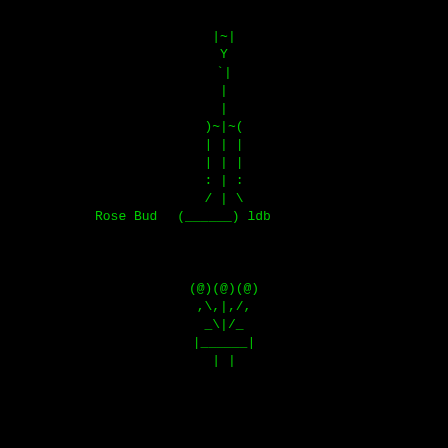[Figure (illustration): ASCII art of a rose bud (top): vertical stem with Y shape at top, horizontal arms )~|~(, vertical lines | | |, colon lines : | :, diagonal lines / | \, and base (______). Label reads 'Rose Bud' with attribution 'ldb'. Bottom portion shows ASCII art of a plant/candle with (@)(@)(@) at top, diagonal lines ,\,|,/,, _\|/_, |______|, and | |.]